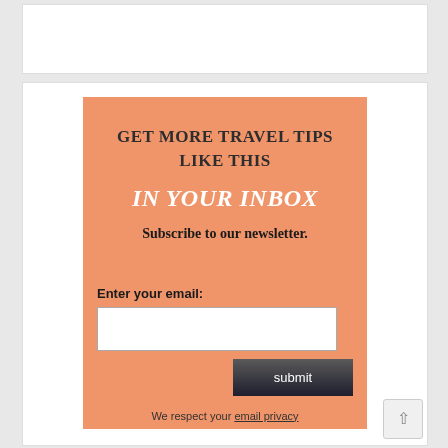[Figure (screenshot): White card at top of page, partially visible]
GET MORE TRAVEL TIPS LIKE THIS
IN YOUR INBOX
Subscribe to our newsletter.
Enter your email:
We respect your email privacy